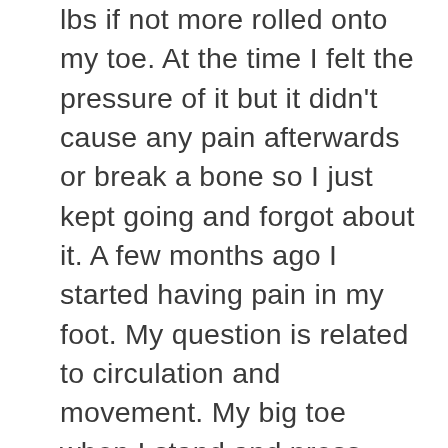lbs if not more rolled onto my toe. At the time I felt the pressure of it but it didn't cause any pain afterwards or break a bone so I just kept going and forgot about it. A few months ago I started having pain in my foot. My question is related to circulation and movement. My big toe when I stand and press down on it my whole foot starts to shake and when I bend my toes inward my big toe is not as flexible and does not bend in as far Could there be a broken tendon or ligament causing this? Also for some reason my toe still looks puffy and swollen not severe but when I'm standing for a long time in shoes not flip flops the bottom of my big toe turns purple and turns pruny and forms pimple like bumps what could be causing this whenever I sit down or put my foot up it returns to a normal pink/red fleshlike